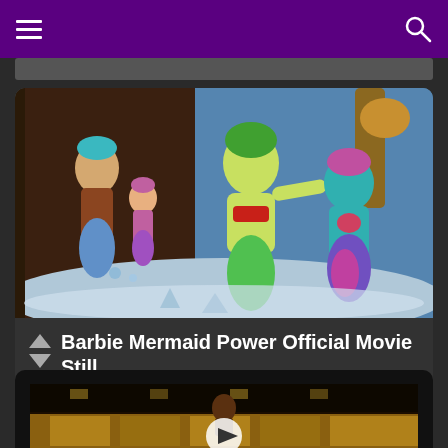Navigation header with hamburger menu and search icon
[Figure (screenshot): Barbie Mermaid Power animated movie still showing four mermaid characters in an underwater setting]
Barbie Mermaid Power Official Movie Still
added by Keira17
[Figure (screenshot): Partially visible video thumbnail showing a scene with a play button overlay]